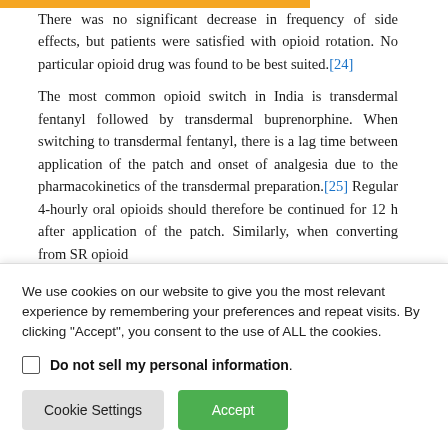There was no significant decrease in frequency of side effects, but patients were satisfied with opioid rotation. No particular opioid drug was found to be best suited.[24]
The most common opioid switch in India is transdermal fentanyl followed by transdermal buprenorphine. When switching to transdermal fentanyl, there is a lag time between application of the patch and onset of analgesia due to the pharmacokinetics of the transdermal preparation.[25] Regular 4-hourly oral opioids should therefore be continued for 12 h after application of the patch. Similarly, when converting from SR opioid
We use cookies on our website to give you the most relevant experience by remembering your preferences and repeat visits. By clicking "Accept", you consent to the use of ALL the cookies.
Do not sell my personal information.